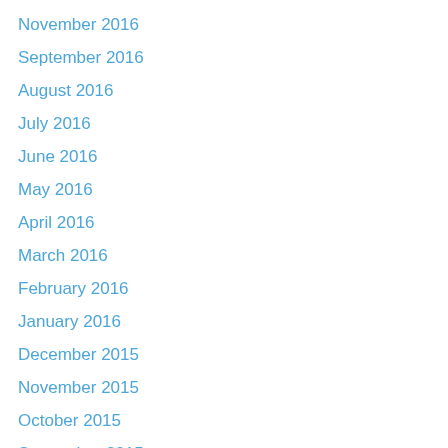November 2016
September 2016
August 2016
July 2016
June 2016
May 2016
April 2016
March 2016
February 2016
January 2016
December 2015
November 2015
October 2015
September 2015
August 2015
July 2015
June 2015
May 2015
April 2015
March 2015